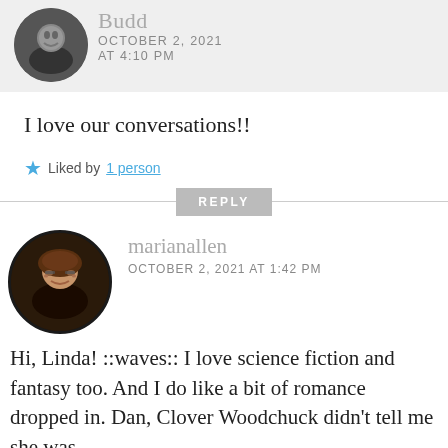[Figure (photo): Circular avatar photo of user Budd, partially cropped at top, showing a smiling person]
Budd
OCTOBER 2, 2021
AT 4:10 PM
I love our conversations!!
★ Liked by 1 person
REPLY
[Figure (photo): Circular avatar photo of marianallen, a woman with brown hair and glasses, smiling]
marianallen
OCTOBER 2, 2021 AT 1:42 PM
Hi, Linda! ::waves:: I love science fiction and fantasy too. And I do like a bit of romance dropped in. Dan, Clover Woodchuck didn't tell me she was